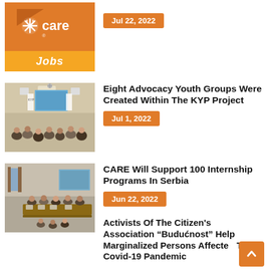[Figure (logo): CARE Jobs logo with orange background and yellow Jobs banner]
Jul 22, 2022
[Figure (photo): Meeting room with people facing a presentation screen, KYP project event]
Eight Advocacy Youth Groups Were Created Within The KYP Project
Jul 1, 2022
[Figure (photo): Conference room with people seated at long table]
CARE Will Support 100 Internship Programs In Serbia
Jun 22, 2022
Activists Of The Citizen's Association “Budućnost” Help Marginalized Persons Affected The Covid-19 Pandemic